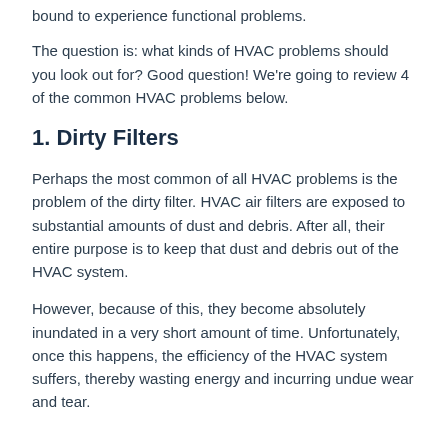bound to experience functional problems.
The question is: what kinds of HVAC problems should you look out for? Good question! We're going to review 4 of the common HVAC problems below.
1. Dirty Filters
Perhaps the most common of all HVAC problems is the problem of the dirty filter. HVAC air filters are exposed to substantial amounts of dust and debris. After all, their entire purpose is to keep that dust and debris out of the HVAC system.
However, because of this, they become absolutely inundated in a very short amount of time. Unfortunately, once this happens, the efficiency of the HVAC system suffers, thereby wasting energy and incurring undue wear and tear.